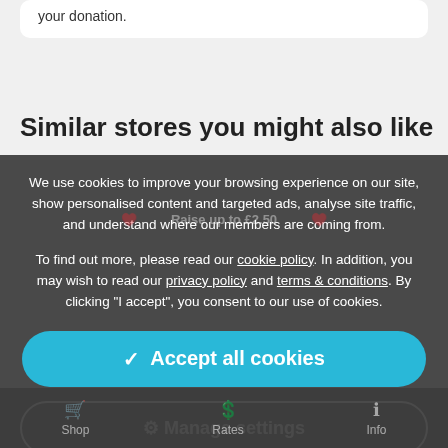your donation.
Similar stores you might also like
We use cookies to improve your browsing experience on our site, show personalised content and targeted ads, analyse site traffic, and understand where our members are coming from.
To find out more, please read our cookie policy. In addition, you may wish to read our privacy policy and terms & conditions. By clicking "I accept", you consent to our use of cookies.
Raise up to £2.50
✓ Accept all cookies
⚙ Manage settings
Shop   Rates   Info